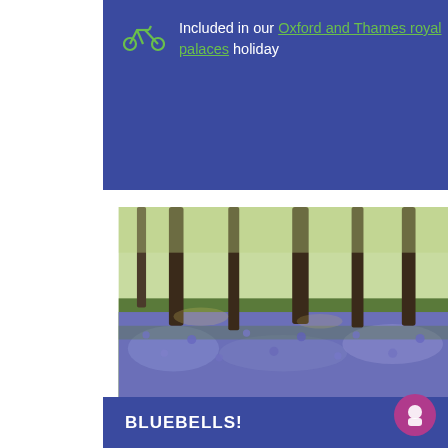Included in our Oxford and Thames royal palaces holiday
[Figure (photo): A woodland floor carpeted with bluebells (purple/blue flowers) beneath tall beech trees in spring]
BLUEBELLS!
The chalk downlands and beech woods are home to millions of blue bells in April and May – the sight and scent make your heart